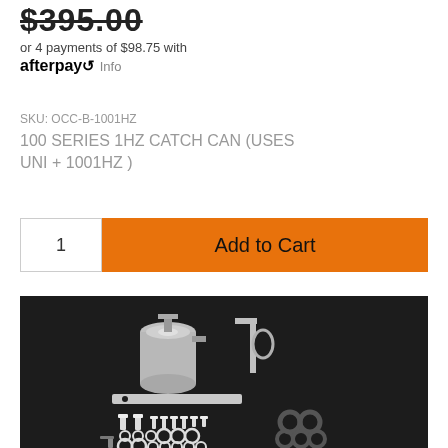$395.00
or 4 payments of $98.75 with afterpay Info
SKU: OCC-B-1001HZ
100 SERIES 1HZ CATCH CAN (USES UNI + 1001HZ )
1  Add to Cart
[Figure (photo): Product photo showing a catch can kit with silver cylindrical canister, metal brackets, bolts, washers and rubber seals laid out on a dark background]